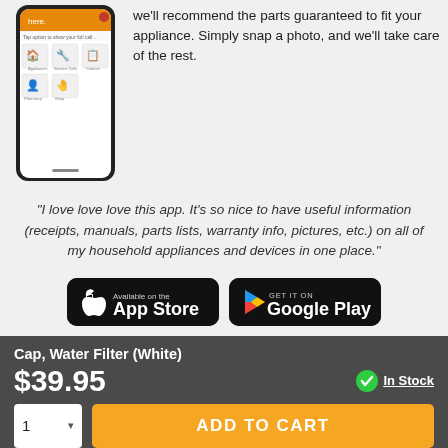[Figure (screenshot): A smartphone showing an app interface with appliance icons and an orange header bar]
we'll recommend the parts guaranteed to fit your appliance. Simply snap a photo, and we'll take care of the rest.
"I love love love this app. It's so nice to have useful information (receipts, manuals, parts lists, warranty info, pictures, etc.) on all of my household appliances and devices in one place."
[Figure (logo): App Store download button (Apple)]
[Figure (logo): Google Play download button]
Cap, Water Filter (White)
$39.95
In Stock
ADD TO CART